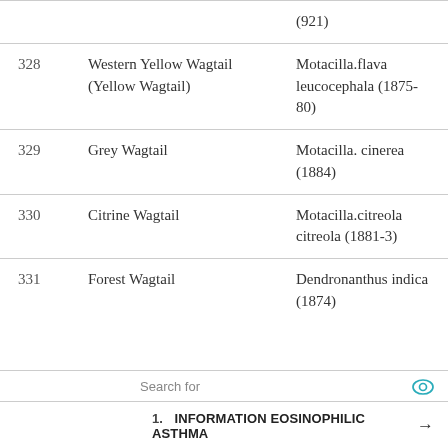| # | Common Name | Scientific Name |
| --- | --- | --- |
|  |  | (921) |
| 328 | Western Yellow Wagtail (Yellow Wagtail) | Motacilla.flava leucocephala (1875-80) |
| 329 | Grey Wagtail | Motacilla. cinerea (1884) |
| 330 | Citrine Wagtail | Motacilla.citreola citreola (1881-3) |
| 331 | Forest Wagtail | Dendronanthus indica (1874) |
Search for
1. INFORMATION EOSINOPHILIC ASTHMA →
2. FLEET MAINTENANCE SOFTWARE →
Yahoo! Search | Sponsored